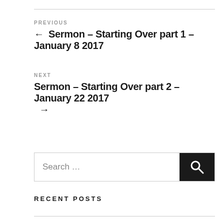PREVIOUS
← Sermon – Starting Over part 1 – January 8 2017
NEXT
Sermon – Starting Over part 2 – January 22 2017 →
Search …
RECENT POSTS